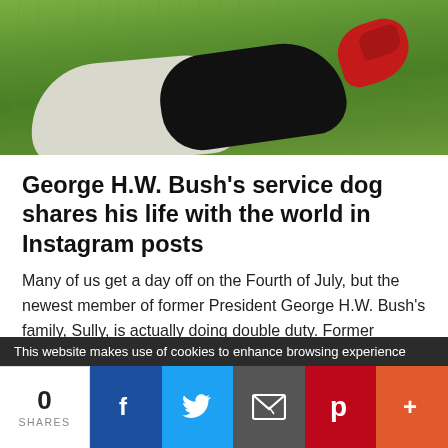[Figure (photo): A dog (black and white Labrador mix) wearing a red bandana lying on green grass]
George H.W. Bush's service dog shares his life with the world in Instagram posts
Many of us get a day off on the Fourth of July, but the newest member of former President George H.W. Bush's family, Sully, is actually doing double duty. Former President George H.W. Bush gets his own service dog named Sully
This website makes use of cookies to enhance browsing experience
0 SHARES
f (Facebook), Twitter bird, email envelope, Pinterest P, + (More)